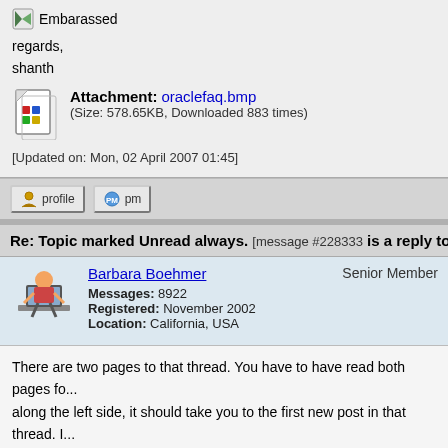Embarassed
regards,
shanth
Attachment: oraclefaq.bmp (Size: 578.65KB, Downloaded 883 times)
[Updated on: Mon, 02 April 2007 01:45]
Re: Topic marked Unread always. [message #228333 is a reply to message #2282...
Barbara Boehmer   Senior Member
Messages: 8922
Registered: November 2002
Location: California, USA
There are two pages to that thread. You have to have read both pages fo... along the left side, it should take you to the first new post in that thread. I... page is started, it will be marked unread again until you read the new po...